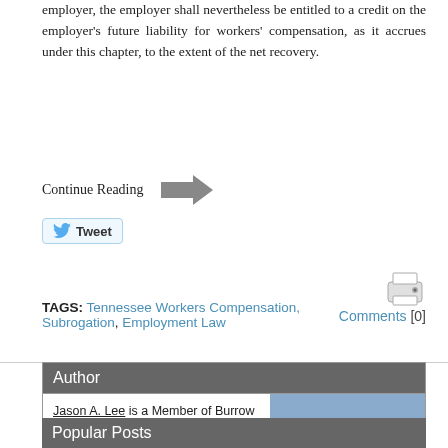employer, the employer shall nevertheless be entitled to a credit on the employer's future liability for workers' compensation, as it accrues under this chapter, to the extent of the net recovery.
Continue Reading →
Tweet
[Figure (other): Printer icon]
TAGS: Tennessee Workers Compensation, Subrogation, Employment Law
Comments [0]
Author
Jason A. Lee is a Member of Burrow Lee, PLLC. He practices in all areas of defense litigation inside and outside of Tennessee.
[Figure (photo): Photo of Jason A. Lee, a man in a dark suit with a red tie, with a city skyline in the background]
Popular Posts